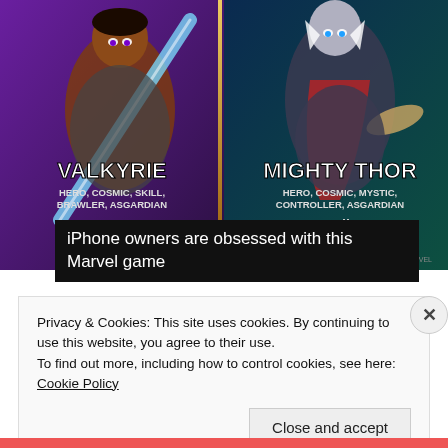[Figure (screenshot): Marvel Contest of Champions game screenshot showing Valkyrie (Hero, Cosmic, Skill, Brawler, Asgardian) and Mighty Thor (Hero, Cosmic, Mystic, Controller, Asgardian) characters with star ratings]
iPhone owners are obsessed with this Marvel game
Privacy & Cookies: This site uses cookies. By continuing to use this website, you agree to their use.
To find out more, including how to control cookies, see here: Cookie Policy
Close and accept